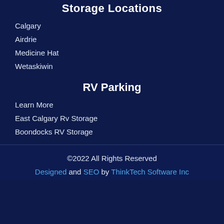Storage Locations
Calgary
Airdrie
Medicine Hat
Wetaskiwin
RV Parking
Learn More
East Calgary Rv Storage
Boondocks RV Storage
©2022 All Rights Reserved
Designed and SEO by ThinkTech Software Inc